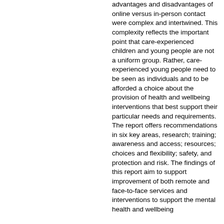advantages and disadvantages of online versus in-person contact were complex and intertwined. This complexity reflects the important point that care-experienced children and young people are not a uniform group. Rather, care-experienced young people need to be seen as individuals and to be afforded a choice about the provision of health and wellbeing interventions that best support their particular needs and requirements. The report offers recommendations in six key areas, research; training; awareness and access; resources; choices and flexibility; safety, and protection and risk. The findings of this report aim to support improvement of both remote and face-to-face services and interventions to support the mental health and wellbeing